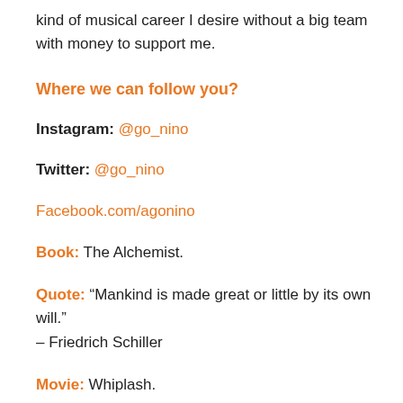kind of musical career I desire without a big team with money to support me.
Where we can follow you?
Instagram: @go_nino
Twitter: @go_nino
Facebook.com/agonino
Book: The Alchemist.
Quote: “Mankind is made great or little by its own will.” – Friedrich Schiller
Movie: Whiplash.